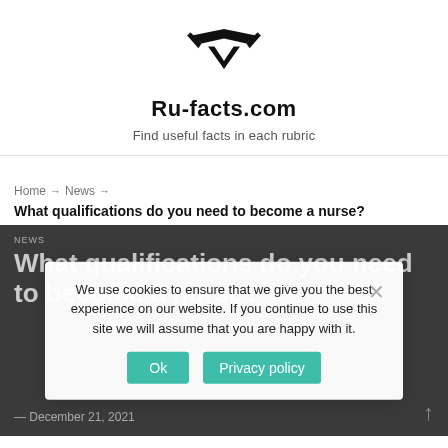[Figure (logo): Ru-facts.com logo with stylized arrow/chevron icon in black]
Ru-facts.com
Find useful facts in each rubric
[Figure (other): Hamburger menu icon (two horizontal lines)]
Home → News → What qualifications do you need to become a nurse?
NEWS
What qualifications do you need to become a nurse?
We use cookies to ensure that we give you the best experience on our website. If you continue to use this site we will assume that you are happy with it.
Ok   Privacy policy
December 21, 2021